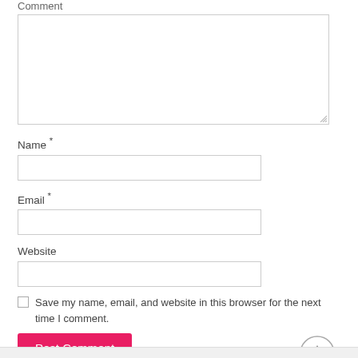Comment
[Figure (other): Textarea input box for comment]
Name *
[Figure (other): Name text input field]
Email *
[Figure (other): Email text input field]
Website
[Figure (other): Website text input field]
Save my name, email, and website in this browser for the next time I comment.
[Figure (other): Post Comment button (pink/magenta) and up-arrow circle navigation button]